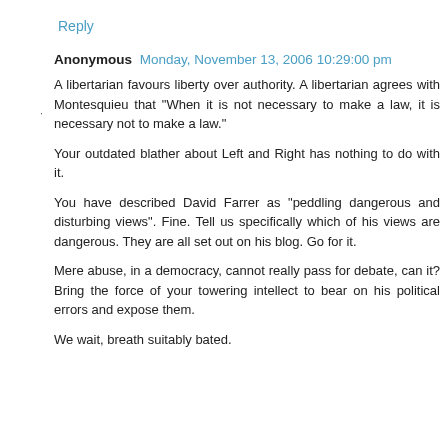Reply
Anonymous  Monday, November 13, 2006 10:29:00 pm
A libertarian favours liberty over authority. A libertarian agrees with Montesquieu that "When it is not necessary to make a law, it is necessary not to make a law."
Your outdated blather about Left and Right has nothing to do with it.
You have described David Farrer as "peddling dangerous and disturbing views". Fine. Tell us specifically which of his views are dangerous. They are all set out on his blog. Go for it.
Mere abuse, in a democracy, cannot really pass for debate, can it? Bring the force of your towering intellect to bear on his political errors and expose them.
We wait, breath suitably bated.